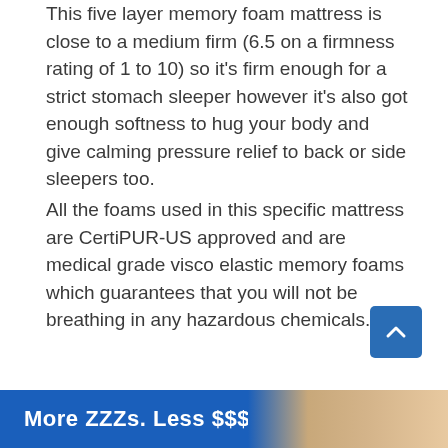This five layer memory foam mattress is close to a medium firm (6.5 on a firmness rating of 1 to 10) so it's firm enough for a strict stomach sleeper however it's also got enough softness to hug your body and give calming pressure relief to back or side sleepers too.
All the foams used in this specific mattress are CertiPUR-US approved and are medical grade visco elastic memory foams which guarantees that you will not be breathing in any hazardous chemicals.
The quilted memory foam outer cover is made from Tencel material which is breathable and helps with air circulation.
[Figure (other): Blue scroll-to-top button with upward chevron arrow]
[Figure (other): Blue advertisement banner with text 'More ZZZs. Less $$$' and a partial photo of a person sleeping]